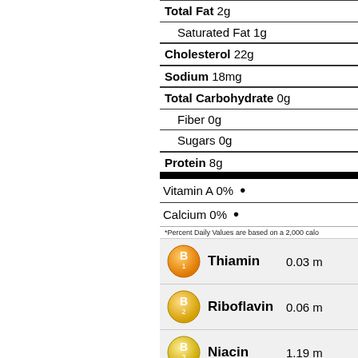| Total Fat 2g |
| Saturated Fat 1g |
| Cholesterol 22g |
| Sodium 18mg |
| Total Carbohydrate 0g |
| Fiber 0g |
| Sugars 0g |
| Protein 8g |
Vitamin A 0%  •
Calcium 0%  •
*Percent Daily Values are based on a 2,000 calo
Thiamin  0.03 m
Riboflavin  0.06 m
Niacin  1.19 m